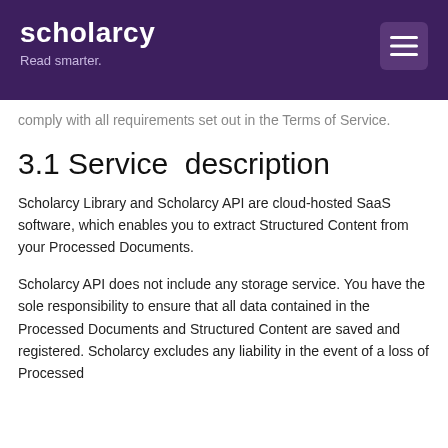scholarcy — Read smarter.
comply with all requirements set out in the Terms of Service.
3.1 Service description
Scholarcy Library and Scholarcy API are cloud-hosted SaaS software, which enables you to extract Structured Content from your Processed Documents.
Scholarcy API does not include any storage service. You have the sole responsibility to ensure that all data contained in the Processed Documents and Structured Content are saved and registered. Scholarcy excludes any liability in the event of a loss of Processed